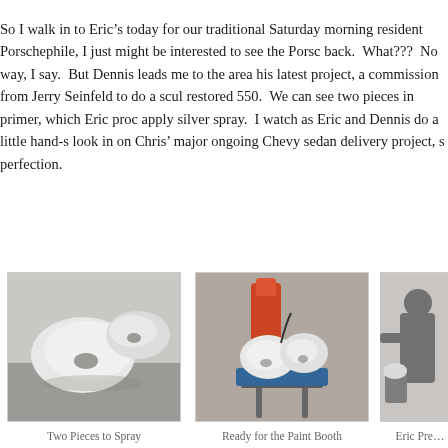So I walk in to Eric’s today for our traditional Saturday morning resident Porschephile, I just might be interested to see the Porsc back. What??? No way, I say. But Dennis leads me to the area his latest project, a commission from Jerry Seinfeld to do a scul restored 550. We can see two pieces in primer, which Eric proc apply silver spray. I watch as Eric and Dennis do a little hand-s look in on Chris’ major ongoing Chevy sedan delivery project, s perfection.
[Figure (photo): Two white sculpted Porsche body pieces lying on a surface, primed and ready for painting]
Two Pieces to Spray
[Figure (photo): The same white sculpted pieces mounted on a stand/rack with an orange spray gun or equipment visible, ready for the paint booth]
Ready for the Paint Booth
[Figure (photo): Eric in a paint booth preparing to spray, partially visible on the right side]
Eric Pre…